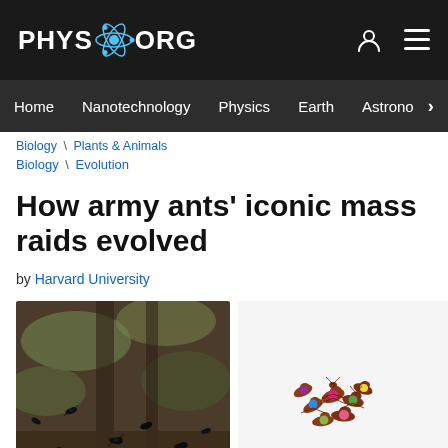PHYS.ORG
Home | Nanotechnology | Physics | Earth | Astronomy >
Biology \ Plants & Animals
Biology \ Evolution
How army ants' iconic mass raids evolved
by Harvard University
[Figure (photo): Two photos side by side: left shows army ants on forest floor/bark; right shows ants with colored dot markers on white background.]